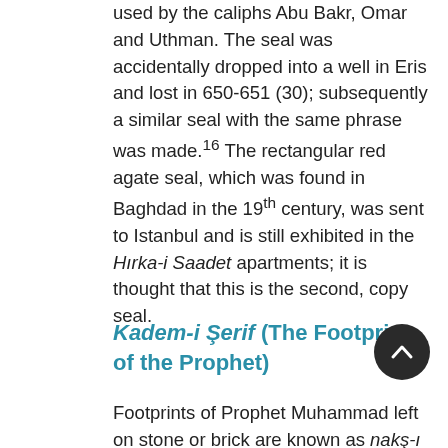used by the caliphs Abu Bakr, Omar and Uthman. The seal was accidentally dropped into a well in Eris and lost in 650-651 (30); subsequently a similar seal with the same phrase was made.¹⁶ The rectangular red agate seal, which was found in Baghdad in the 19th century, was sent to Istanbul and is still exhibited in the Hırka-i Saadet apartments; it is thought that this is the second, copy seal.
Kadem-i Şerif (The Footprint of the Prophet)
Footprints of Prophet Muhammad left on stone or brick are known as nakş-ı kadem saadet or Kadem-i Şerif. Ottoman sultans respected the Kadem-i Şerif in the same way